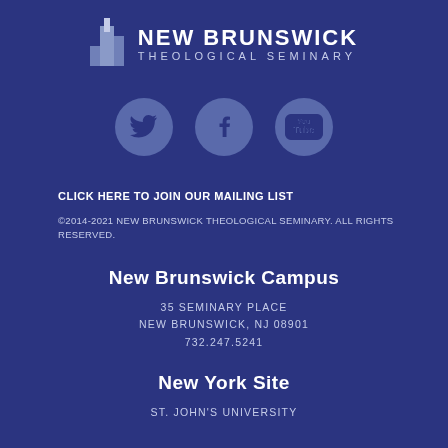[Figure (logo): New Brunswick Theological Seminary logo with building icon and text]
[Figure (illustration): Three social media icons: Twitter, Facebook, YouTube in light blue circles on dark blue background]
CLICK HERE TO JOIN OUR MAILING LIST
©2014-2021 NEW BRUNSWICK THEOLOGICAL SEMINARY. ALL RIGHTS RESERVED.
New Brunswick Campus
35 SEMINARY PLACE
NEW BRUNSWICK, NJ 08901
732.247.5241
New York Site
ST. JOHN'S UNIVERSITY